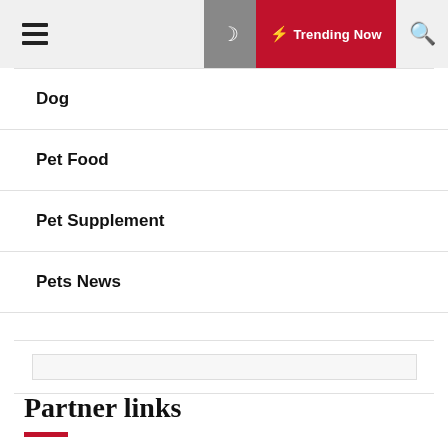☰ 🌙 ⚡ Trending Now 🔍
Dog
Pet Food
Pet Supplement
Pets News
Partner links